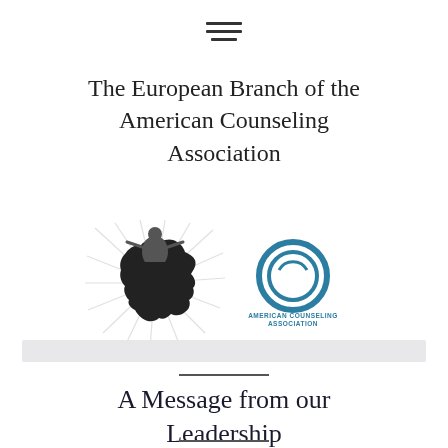[Figure (other): Hamburger/navigation menu icon — three horizontal bars]
The European Branch of the American Counseling Association
[Figure (logo): Two logos side by side: left is the European Branch of ACA logo with a silhouette figure over a map of Europe with rays; right is the American Counseling Association circular teal logo with text 'AMERICAN COUNSELING ASSOCIATION']
A Message from our Leadership